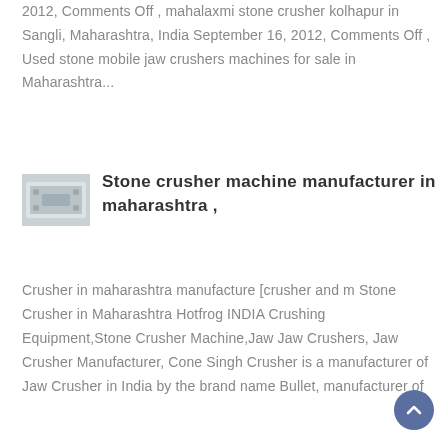2012, Comments Off , mahalaxmi stone crusher kolhapur in Sangli, Maharashtra, India September 16, 2012, Comments Off , Used stone mobile jaw crushers machines for sale in Maharashtra...
[Figure (photo): Small thumbnail image of a stone crusher machine, grayish-white industrial equipment with bolts/holes visible]
Stone crusher machine manufacturer in maharashtra ,
Crusher in maharashtra manufacture [crusher and m Stone Crusher in Maharashtra Hotfrog INDIA Crushing Equipment,Stone Crusher Machine,Jaw Jaw Crushers, Jaw Crusher Manufacturer, Cone Singh Crusher is a manufacturer of Jaw Crusher in India by the brand name Bullet, manufacturer of